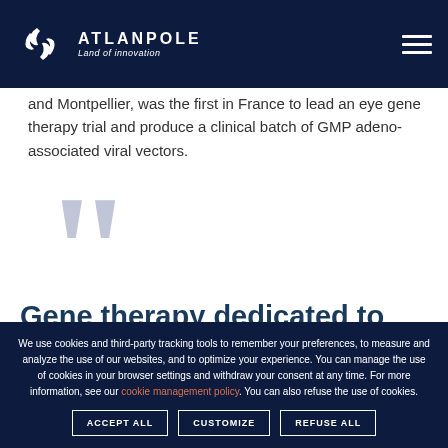ATLANPOLE Land of innovation
and Montpellier, was the first in France to lead an eye gene therapy trial and produce a clinical batch of GMP adeno-associated viral vectors.
[Figure (illustration): Large decorative double open quotation mark in light blue-gray color]
Gene therapy dedicated to
We use cookies and third-party tracking tools to remember your preferences, to measure and analyze the use of our websites, and to optimize your experience. You can manage the use of cookies in your browser settings and withdraw your consent at any time. For more information, see our cookie management policy. You can also refuse the use of cookies.